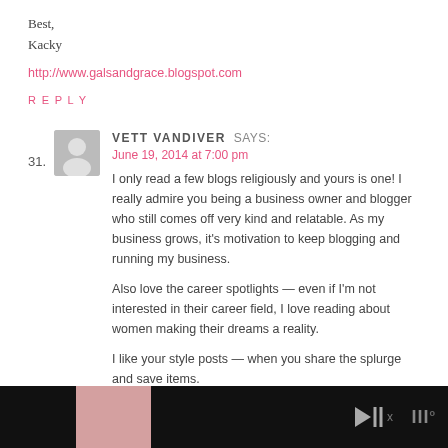Best,
Kacky
http://www.galsandgrace.blogspot.com
REPLY
VETT VANDIVER SAYS:
June 19, 2014 at 7:00 pm
I only read a few blogs religiously and yours is one! I really admire you being a business owner and blogger who still comes off very kind and relatable. As my business grows, it's motivation to keep blogging and running my business.
Also love the career spotlights — even if I'm not interested in their career field, I love reading about women making their dreams a reality.
I like your style posts — when you share the splurge and save items.
Seeing you cross items off your 101 list is also very interesting.
[Figure (other): Advertisement banner at bottom of page with pink image, dark background, play/skip controls and logo]